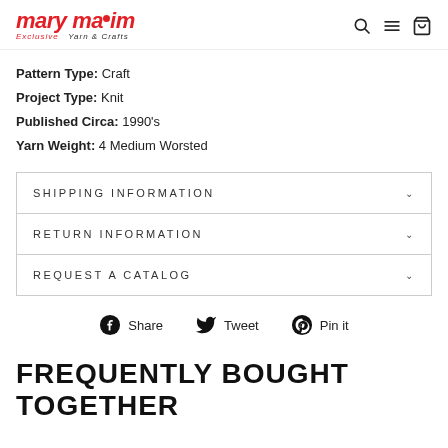mary maxim — Exclusive Yarn & Crafts
Pattern Type: Craft
Project Type: Knit
Published Circa: 1990's
Yarn Weight: 4 Medium Worsted
SHIPPING INFORMATION
RETURN INFORMATION
REQUEST A CATALOG
Share  Tweet  Pin it
FREQUENTLY BOUGHT TOGETHER